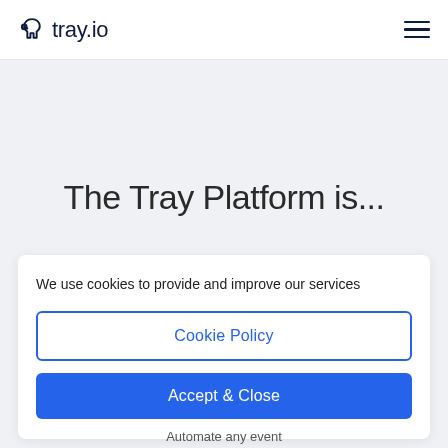tray.io
The Tray Platform is...
We use cookies to provide and improve our services
Cookie Policy
Accept & Close
Automate any event